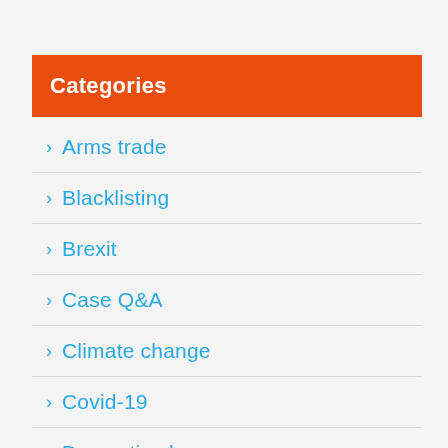Categories
Arms trade
Blacklisting
Brexit
Case Q&A
Climate change
Covid-19
Domestic abuse